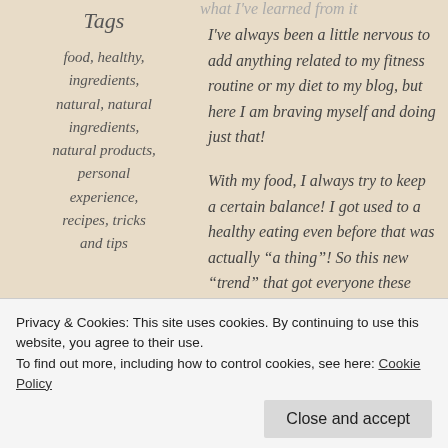what I've learned from it
Tags
food, healthy, ingredients, natural, natural ingredients, natural products, personal experience, recipes, tricks and tips
I've always been a little nervous to add anything related to my fitness routine or my diet to my blog, but here I am braving myself and doing just that!
With my food, I always try to keep a certain balance! I got used to a healthy eating even before that was actually “a thing”! So this new “trend” that got everyone these past couple of years, for me was actually a life style long before.
I’m not saying that I was juicing or living on salads all the time, but I definitely still can hear my Mom’s voice
Privacy & Cookies: This site uses cookies. By continuing to use this website, you agree to their use.
To find out more, including how to control cookies, see here: Cookie Policy
Close and accept